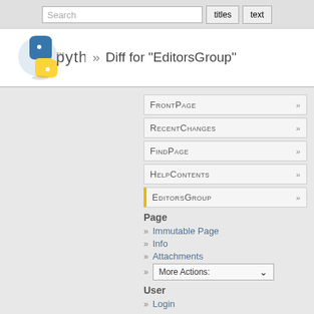[Figure (screenshot): Python wiki page showing search bar with 'Search', 'titles', and 'text' buttons at top]
» Diff for "EditorsGroup"
[Figure (logo): Python programming language logo with snake icon and 'python™' text]
FrontPage »
RecentChanges »
FindPage »
HelpContents »
EditorsGroup »
Page
» Immutable Page
» Info
» Attachments
» More Actions:
User
» Login
Differences between revisions 591 and 592